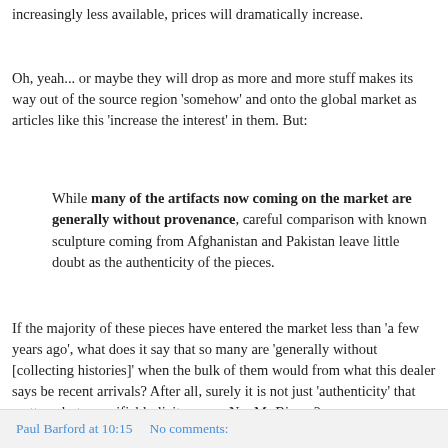increasingly less available, prices will dramatically increase.
Oh, yeah... or maybe they will drop as more and more stuff makes its way out of the source region 'somehow' and onto the global market as articles like this 'increase the interest' in them. But:
While many of the artifacts now coming on the market are generally without provenance, careful comparison with known sculpture coming from Afghanistan and Pakistan leave little doubt as the authenticity of the pieces.
If the majority of these pieces have entered the market less than 'a few years ago', what does it say that so many are 'generally without [collecting histories]' when the bulk of them would from what this dealer says be recent arrivals? After all, surely it is not just 'authenticity' that matters, but a  verifiably licit source. No, Mr Biener?
Paul Barford at 10:15     No comments: